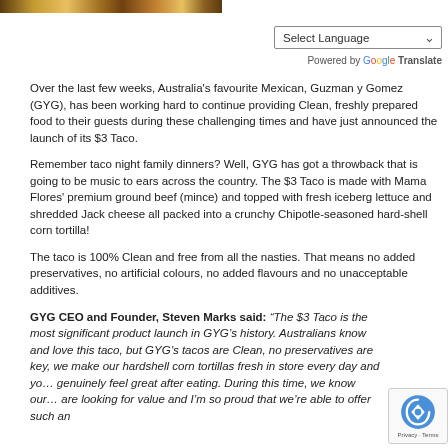[Figure (photo): Partial photo strip at top showing food/taco imagery]
[Figure (screenshot): Google Translate widget with 'Select Language' dropdown]
Powered by Google Translate
Over the last few weeks, Australia's favourite Mexican, Guzman y Gomez (GYG), has been working hard to continue providing Clean, freshly prepared food to their guests during these challenging times and have just announced the launch of its $3 Taco.
Remember taco night family dinners? Well, GYG has got a throwback that is going to be music to ears across the country. The $3 Taco is made with Mama Flores' premium ground beef (mince) and topped with fresh iceberg lettuce and shredded Jack cheese all packed into a crunchy Chipotle-seasoned hard-shell corn tortilla!
The taco is 100% Clean and free from all the nasties. That means no added preservatives, no artificial colours, no added flavours and no unacceptable additives.
GYG CEO and Founder, Steven Marks said: “The $3 Taco is the most significant product launch in GYG's history. Australians know and love this taco, but GYG's tacos are Clean, no preservatives are key, we make our hardshell corn tortillas fresh in store every day and you genuinely feel great after eating. During this time, we know our are looking for value and I'm so proud that we're able to offer such an